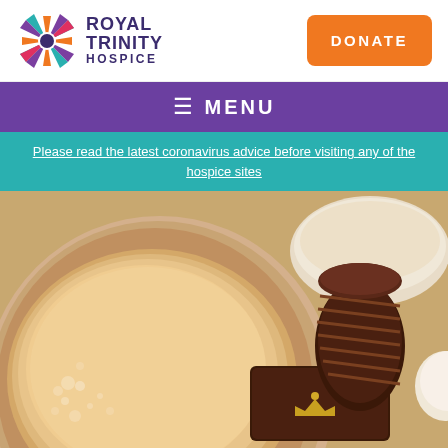[Figure (logo): Royal Trinity Hospice logo with colorful starburst icon and text]
DONATE
≡ MENU
Please read the latest coronavirus advice before visiting any of the hospice sites
[Figure (photo): Close-up photo of a cup of tea and chocolate treats including a chocolate roll with gold crown decoration, on a plate with a scone]